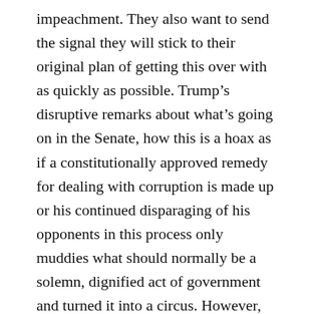impeachment. They also want to send the signal they will stick to their original plan of getting this over with as quickly as possible. Trump's disruptive remarks about what's going on in the Senate, how this is a hoax as if a constitutionally approved remedy for dealing with corruption is made up or his continued disparaging of his opponents in this process only muddies what should normally be a solemn, dignified act of government and turned it into a circus. However, the way Speaker Pelosi has dealt with the proceedings and the members of her caucus and the selection of the impeachment managers have been nothing less than stellar and inspiring. I'm almost afraid to mention the appearance her managers have with what one assumes would be